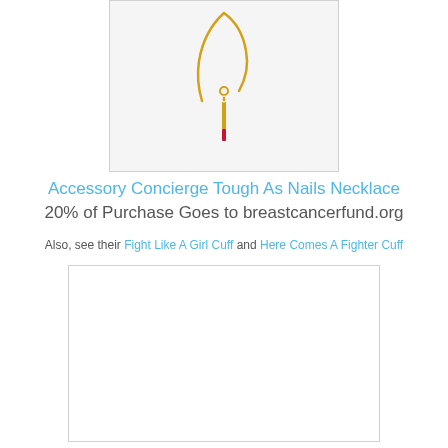[Figure (photo): Product photo of a gold chain necklace with a needle pendant tipped in red, on a light grey background]
Accessory Concierge Tough As Nails Necklace
20% of Purchase Goes to breastcancerfund.org
Also, see their Fight Like A Girl Cuff and Here Comes A Fighter Cuff
[Figure (photo): Second product image placeholder, white/blank area with border]